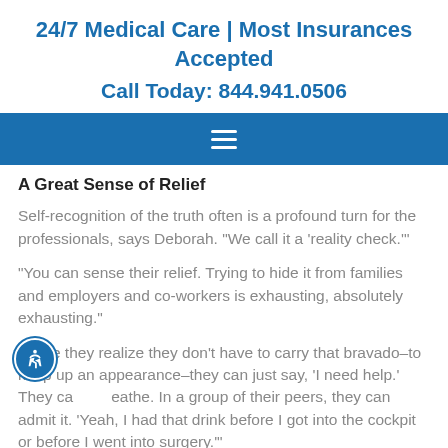24/7 Medical Care | Most Insurances Accepted
Call Today: 844.941.0506
[Figure (other): Blue navigation bar with hamburger menu icon (three white horizontal lines)]
A Great Sense of Relief
Self-recognition of the truth often is a profound turn for the professionals, says Deborah. “We call it a ‘reality check.’”
“You can sense their relief. Trying to hide it from families and employers and co-workers is exhausting, absolutely exhausting.”
“Once they realize they don’t have to carry that bravado–to keep up an appearance–they can just say, ‘I need help.’ They can breathe. In a group of their peers, they can admit it. ‘Yeah, I had that drink before I got into the cockpit or before I went into surgery.’”